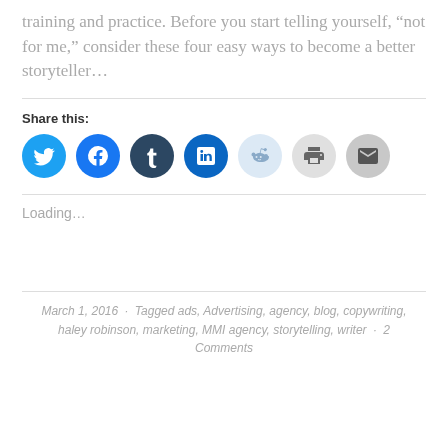training and practice. Before you start telling yourself, “not for me,” consider these four easy ways to become a better storyteller…
Share this:
[Figure (infographic): Row of social media sharing icon circles: Twitter (blue), Facebook (blue), Tumblr (dark navy), LinkedIn (blue), Reddit (light blue), Print (light grey), Email (grey)]
Loading…
March 1, 2016 · Tagged ads, Advertising, agency, blog, copywriting, haley robinson, marketing, MMI agency, storytelling, writer · 2 Comments